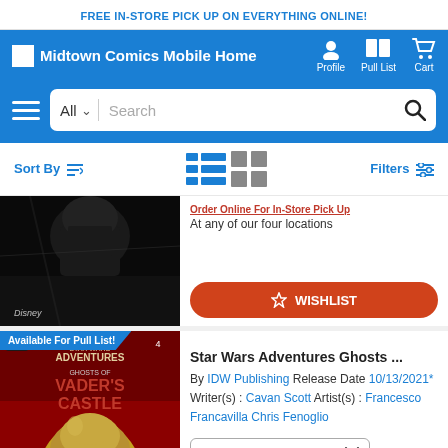FREE IN-STORE PICK UP ON EVERYTHING ONLINE!
[Figure (screenshot): Midtown Comics Mobile Home navigation header with logo, Profile, Pull List, Cart icons on blue background]
[Figure (screenshot): Search bar with hamburger menu, All category dropdown, Search input, and search icon]
Sort By  Filters
[Figure (photo): Partial comic book cover showing dark Star Wars themed artwork with Darth Vader]
Order Online For In-Store Pick Up
At any of our four locations
WISHLIST
Available For Pull List!
[Figure (photo): Star Wars Adventures Ghosts of Vader's Castle #4 comic book cover by IDW Publishing]
Star Wars Adventures Ghosts ...
By IDW Publishing Release Date 10/13/2021*
Writer(s) : Cavan Scott Artist(s) : Francesco Francavilla Chris Fenoglio
Near Mint - $4.05